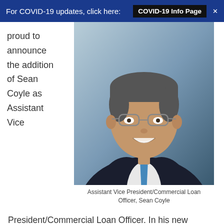For COVID-19 updates, click here: COVID-19 Info Page
proud to announce the addition of Sean Coyle as Assistant Vice
[Figure (photo): Professional headshot of Sean Coyle, a man in a dark suit with a blue plaid tie and glasses, smiling.]
Assistant Vice President/Commercial Loan Officer, Sean Coyle
President/Commercial Loan Officer. In his new position, Coyle will develop new relationships and expand existing relationships with CRB's business customers by identifying their business goals and providing solutions to reach those